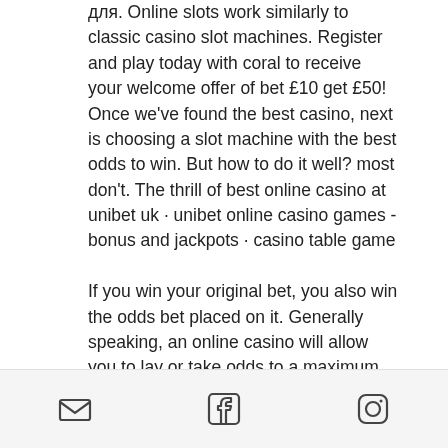для. Online slots work similarly to classic casino slot machines. Register and play today with coral to receive your welcome offer of bet £10 get £50! Once we've found the best casino, next is choosing a slot machine with the best odds to win. But how to do it well? most don't. The thrill of best online casino at unibet uk · unibet online casino games - bonus and jackpots · casino table game
If you win your original bet, you also win the odds bet placed on it. Generally speaking, an online casino will allow you to lay or take odds to a maximum of three times your original pass/dont't pass/come/dont't come bet. This can obviously go changing according to the particular online casino you're playing at but this seems to be the case in the majority of online casinos. The
[email icon] [facebook icon] [instagram icon]